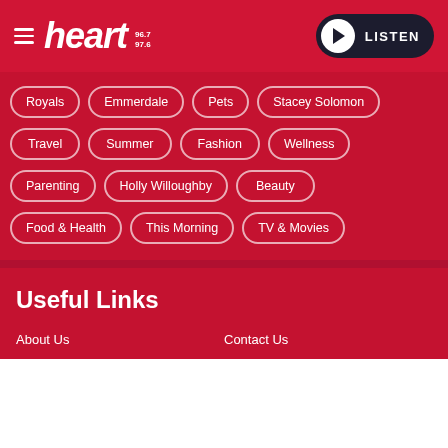heart 96.7 97.6 — LISTEN
Royals
Emmerdale
Pets
Stacey Solomon
Travel
Summer
Fashion
Wellness
Parenting
Holly Willoughby
Beauty
Food & Health
This Morning
TV & Movies
Useful Links
About Us
Contact Us